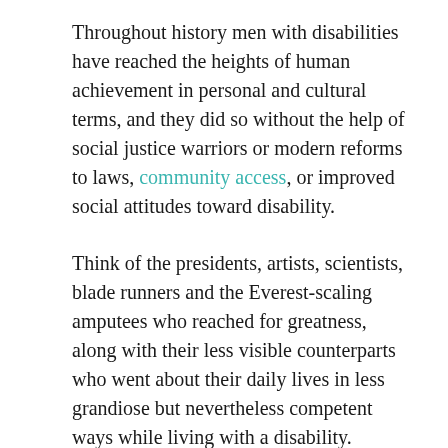Throughout history men with disabilities have reached the heights of human achievement in personal and cultural terms, and they did so without the help of social justice warriors or modern reforms to laws, community access, or improved social attitudes toward disability.
Think of the presidents, artists, scientists, blade runners and the Everest-scaling amputees who reached for greatness, along with their less visible counterparts who went about their daily lives in less grandiose but nevertheless competent ways while living with a disability.
Disability always poses limitations on a person's physical or mental abilities, but the disability never encompasses the entire person – there remain competencies that deserve equal recognition in the mix.